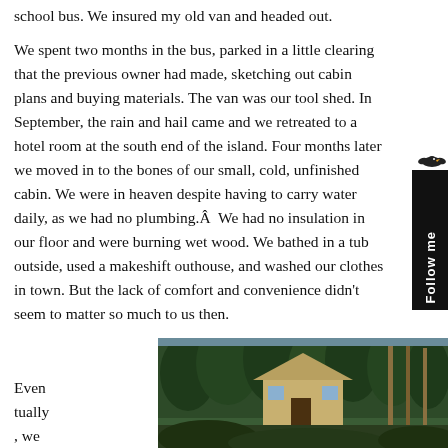school bus. We insured my old van and headed out.
We spent two months in the bus, parked in a little clearing that the previous owner had made, sketching out cabin plans and buying materials. The van was our tool shed. In September, the rain and hail came and we retreated to a hotel room at the south end of the island. Four months later we moved in to the bones of our small, cold, unfinished cabin. We were in heaven despite having to carry water daily, as we had no plumbing.Â  We had no insulation in our floor and were burning wet wood. We bathed in a tub outside, used a makeshift outhouse, and washed our clothes in town. But the lack of comfort and convenience didn't seem to matter so much to us then.
Even tually , we
[Figure (photo): Photo of a small cabin with a triangular/A-frame roof surrounded by dense green trees and tall wooden poles or posts visible on the right side.]